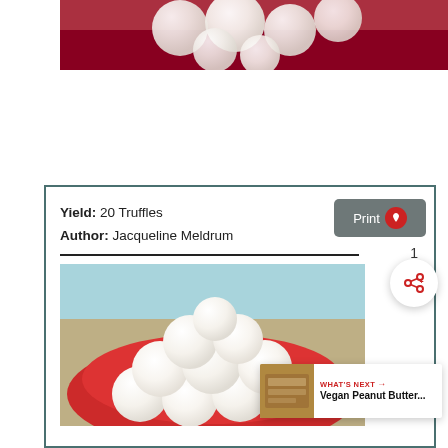[Figure (photo): Close-up photo of white powdered sugar truffles on a red background]
Yield: 20 Truffles
Author: Jacqueline Meldrum
[Figure (photo): Photo of white powdered sugar truffles piled on a red plate with teal/blue background]
WHAT'S NEXT → Vegan Peanut Butter...